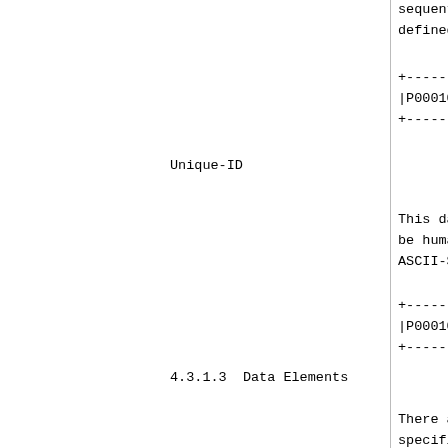sequentially, defined and m
+--------+-
|P0001011|Lx
+--------+-
Unique-ID
This data ele be human-read ASCII-String,
+--------+-
|P0001001|Lx
+--------+-
4.3.1.3  Data Elements
There are two o specification. They ca